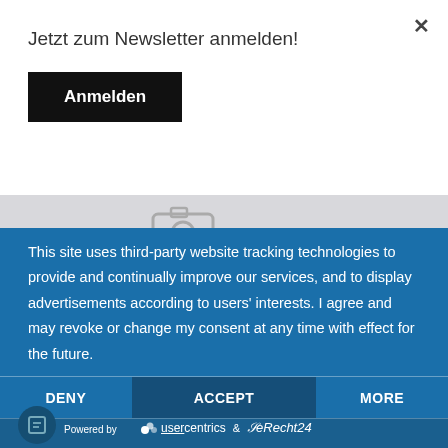Jetzt zum Newsletter anmelden!
Anmelden
This site uses third-party website tracking technologies to provide and continually improve our services, and to display advertisements according to users' interests. I agree and may revoke or change my consent at any time with effect for the future.
DENY | ACCEPT | MORE
Powered by usercentrics & eRecht24